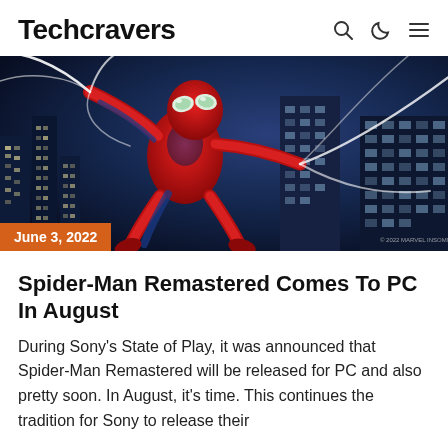Techcravers
[Figure (photo): Spider-Man Remastered game art showing Spider-Man swinging through a city at night with web lines, wearing the classic red and blue suit, against a dark blue cityscape background.]
June 3, 2022
Spider-Man Remastered Comes To PC In August
During Sony’s State of Play, it was announced that Spider-Man Remastered will be released for PC and also pretty soon. In August, it’s time. This continues the tradition for Sony to release their